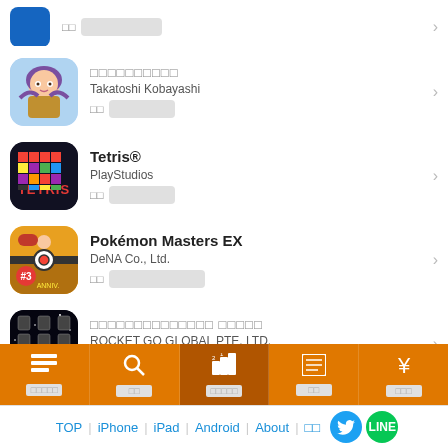Partial app item at top (cropped)
□□□□□□□□□□
Takatoshi Kobayashi
□□ □□□□□
Tetris®
PlayStudios
□□ □□□□□□
Pokémon Masters EX
DeNA Co., Ltd.
□□ □□□□□□□□□□
□□□□□□□□□□□□□□ □□□□□
ROCKET GO GLOBAL PTE. LTD.
□□ □□□□□□□
□□□□□□□□□□□□□ >
TOP | iPhone | iPad | Android | About | □□